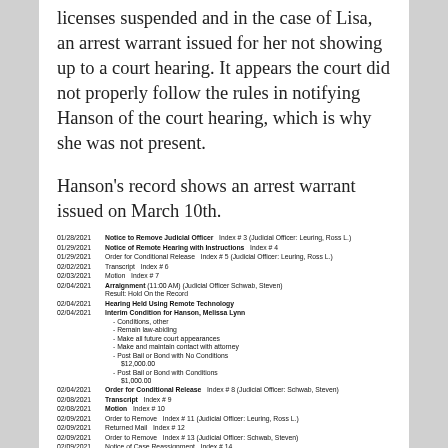licenses suspended and in the case of Lisa, an arrest warrant issued for her not showing up to a court hearing. It appears the court did not properly follow the rules in notifying Hanson of the court hearing, which is why she was not present.
Hanson's record shows an arrest warrant issued on March 10th.
| Date | Description |
| --- | --- |
| 01/28/2021 | Notice to Remove Judicial Officer   Index # 3 (Judicial Officer: Leuring, Ross L.) |
| 01/29/2021 | Notice of Remote Hearing with Instructions   Index # 4 |
| 01/29/2021 | Order for Conditional Release   Index # 5 (Judicial Officer: Leuring, Ross L.) |
| 02/02/2021 | Transcript   Index # 6 |
| 02/03/2021 | Motion   Index # 7 |
| 02/04/2021 | Arraignment (11:00 AM) (Judicial Officer Schwab, Steven)
Result: Hold On the Record |
| 02/04/2021 | Hearing Held Using Remote Technology |
| 02/04/2021 | Interim Condition for Hanson, Melissa Lynn
- Conditions, other
- Remain law-abiding
- Make all future court appearances
- Make and maintain contact with attorney
- Post Bail or Bond with No Conditions  $12,000.00
- Post Bail or Bond with Conditions  $1,000.00 |
| 02/04/2021 | Order for Conditional Release   Index # 8 (Judicial Officer: Schwab, Steven) |
| 02/08/2021 | Transcript   Index # 9 |
| 02/08/2021 | Motion   Index # 10 |
| 02/09/2021 | Order to Remove   Index # 11 (Judicial Officer: Leuring, Ross L.) |
| 02/09/2021 | Returned Mail   Index # 12 |
| 02/09/2021 | Order to Remove   Index # 13 (Judicial Officer: Schwab, Steven) |
| 02/09/2021 | Notice of Case Reassignment   Index # 14 |
| 02/09/2021 | Warrant Request   Index # 15 |
| 02/10/2021 | Conditional Release Violation Report   Index # 16 |
| 02/16/2021 | Motion to Dismiss   Index # 17 |
| 02/17/2021 | Notice of Judicial Determination   Index # 18 (Judicial Officer: Suelzl, Joseph A.) |